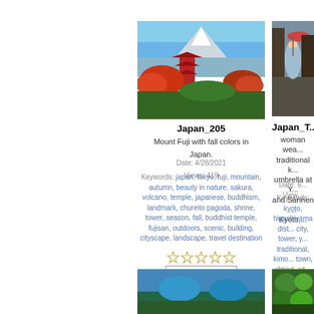[Figure (photo): Mount Fuji with fall colors in Japan - pagoda, red foliage, cityscape]
Japan_205
Mount Fuji with fall colors in Japan.
Date: 4/28/2021
Views: 419
Keywords: japan, tokyo, fuji, mountain, autumn, beauty in nature, sakura, volcano, temple, japanese, buddhism, landmark, chureito pagoda, shrine, tower, season, fall, buddhist temple, fujisan, outdoors, scenic, building, cityscape, landscape, travel destination
[Figure (other): Rating stars (5 empty stars) and progress bar, 0 votes]
[Figure (photo): Woman wearing traditional kimono with umbrella at Yasaka and Sannen Zaka, Kyoto]
Japan_To...
woman wea... traditional k... umbrella at Y... and Sannen ... Kyoto,...
Date: 6... View...
Keywords: kyoto, higashiyama dist... city, tower, y... traditional, kimo... town, shrine, an... buddhist, buildi... destination, s... attractions, san...
[Figure (other): Rating stars (partial) and progress bar, 0 v...]
[Figure (photo): Bottom left thumbnail - landscape/water scene]
[Figure (photo): Bottom right thumbnail - green garden/nature scene]